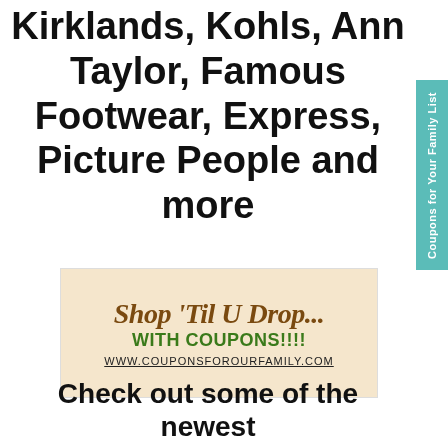Kirklands, Kohls, Ann Taylor, Famous Footwear, Express, Picture People and more
[Figure (logo): Shop 'Til U Drop... With Coupons!!!! www.couponsforourfamily.com banner on a beige background]
Check out some of the newest